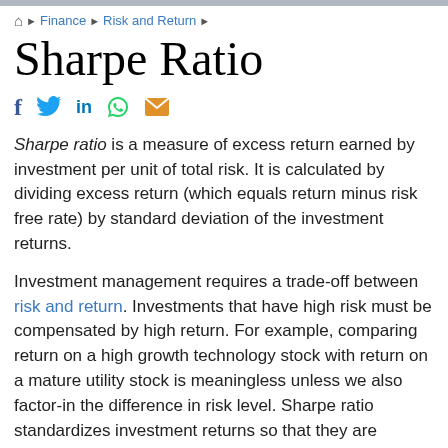Finance › Risk and Return ›
Sharpe Ratio
Sharpe ratio is a measure of excess return earned by investment per unit of total risk. It is calculated by dividing excess return (which equals return minus risk free rate) by standard deviation of the investment returns.
Investment management requires a trade-off between risk and return. Investments that have high risk must be compensated by high return. For example, comparing return on a high growth technology stock with return on a mature utility stock is meaningless unless we also factor-in the difference in risk level. Sharpe ratio standardizes investment returns so that they are comparable across investment portfolios, companies, investment classes, industries, etc.